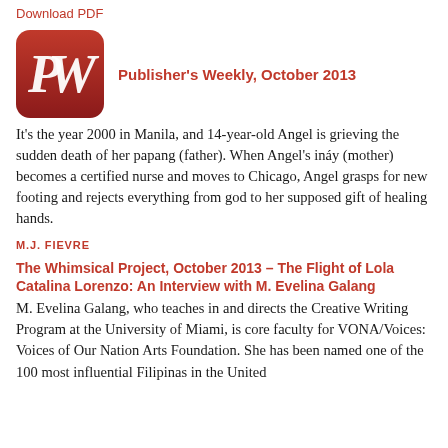Download PDF
[Figure (logo): Publisher's Weekly red rounded square logo with white PW letters]
Publisher's Weekly, October 2013
It's the year 2000 in Manila, and 14-year-old Angel is grieving the sudden death of her papang (father). When Angel's ináy (mother) becomes a certified nurse and moves to Chicago, Angel grasps for new footing and rejects everything from god to her supposed gift of healing hands.
M.J. FIEVRE   The Whimsical Project, October 2013 – The Flight of Lola Catalina Lorenzo: An Interview with M. Evelina Galang
M. Evelina Galang, who teaches in and directs the Creative Writing Program at the University of Miami, is core faculty for VONA/Voices: Voices of Our Nation Arts Foundation. She has been named one of the 100 most influential Filipinas in the United